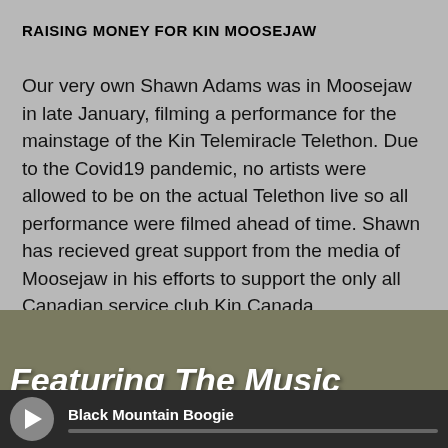RAISING MONEY FOR KIN MOOSEJAW
Our very own Shawn Adams was in Moosejaw in late January, filming a performance for the mainstage of the Kin Telemiracle Telethon. Due to the Covid19 pandemic, no artists were allowed to be on the actual Telethon live so all performance were filmed ahead of time. Shawn has recieved great support from the media of Moosejaw in his efforts to support the only all Canadian service club Kin Canada.
[Figure (screenshot): Video thumbnail with olive/khaki background and white bold italic text reading 'Featuring The Music']
Black Mountain Boogie